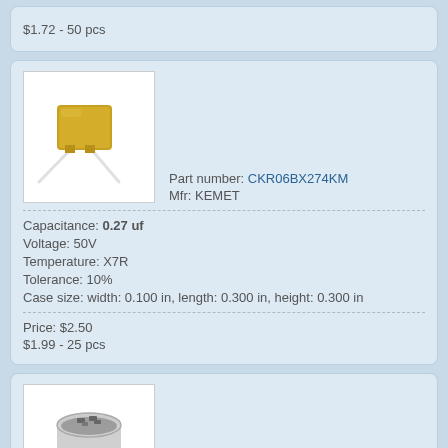$1.72 - 50 pcs
[Figure (photo): Photo of a yellow ceramic capacitor with two white wire leads on a white background]
Part number: CKR06BX274KM
Mfr: KEMET
Capacitance: 0.27 uf
Voltage: 50V
Temperature: X7R
Tolerance: 10%
Case size: width: 0.100 in, length: 0.300 in, height: 0.300 in
Price: $2.50
$1.99 - 25 pcs
[Figure (photo): Photo of a small cylindrical container filled with electronic components (capacitors)]